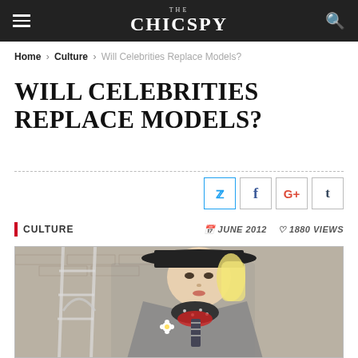THE CHICSPY
Home > Culture > Will Celebrities Replace Models?
WILL CELEBRITIES REPLACE MODELS?
Social share buttons: Twitter, Facebook, Google+, Tumblr
CULTURE   JUNE 2012   1880 VIEWS
[Figure (photo): Blonde woman wearing a black wide-brim hat, dark polka-dot scarf, red floral scarf, striped tie, and grey tweed blazer with a daisy brooch, posed against a brick wall background]